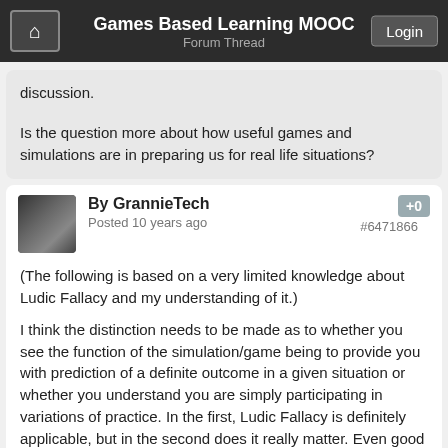Games Based Learning MOOC
Forum Thread
discussion.
Is the question more about how useful games and simulations are in preparing us for real life situations?
By GrannieTech
Posted 10 years ago
+0
#6471866
(The following is based on a very limited knowledge about Ludic Fallacy and my understanding of it.)
I think the distinction needs to be made as to whether you see the function of the simulation/game being to provide you with prediction of a definite outcome in a given situation or whether you understand you are simply participating in variations of practice. In the first, Ludic Fallacy is definitely applicable, but in the second does it really matter. Even good simulations may not exactly portray what you will face in reality, but it will give you experience should something similar arise and you need to make decisions quickly...hopefully, your efficiency and knowledge will increase as